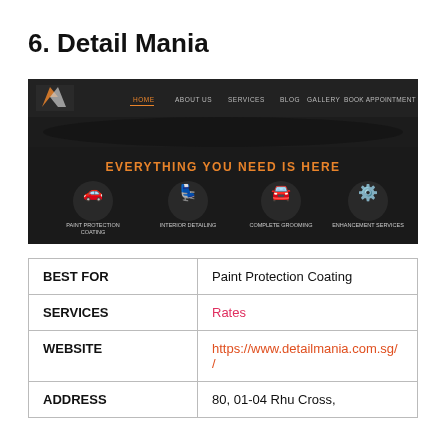6. Detail Mania
[Figure (screenshot): Screenshot of Detail Mania website showing dark navigation bar with HOME, ABOUT US, SERVICES, BLOG, GALLERY, BOOK APPOINTMENT links, orange headline 'EVERYTHING YOU NEED IS HERE', and four white icons for PAINT PROTECTION COATING, INTERIOR DETAILING, COMPLETE GROOMING, ENHANCEMENT SERVICES]
| BEST FOR | Paint Protection Coating |
| SERVICES | Rates |
| WEBSITE | https://www.detailmania.com.sg/ |
| ADDRESS | 80, 01-04 Rhu Cross, |